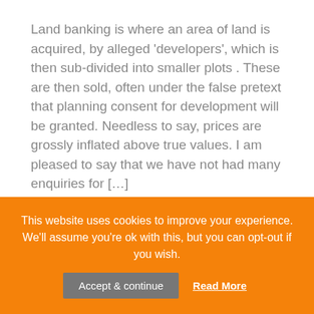Land banking is where an area of land is acquired, by alleged 'developers', which is then sub-divided into smaller plots . These are then sold, often under the false pretext that planning consent for development will be granted. Needless to say, prices are grossly inflated above true values. I am pleased to say that we have not had many enquiries for […]
Tags: News & Articles
Read more
This website uses cookies to improve your experience. We'll assume you're ok with this, but you can opt-out if you wish.
Accept & continue
Read More